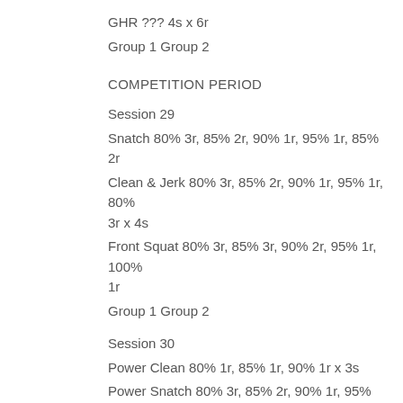GHR ??? 4s x 6r
Group 1 Group 2
COMPETITION PERIOD
Session 29
Snatch 80% 3r, 85% 2r, 90% 1r, 95% 1r, 85% 2r
Clean & Jerk 80% 3r, 85% 2r, 90% 1r, 95% 1r, 80% 3r x 4s
Front Squat 80% 3r, 85% 3r, 90% 2r, 95% 1r, 100% 1r
Group 1 Group 2
Session 30
Power Clean 80% 1r, 85% 1r, 90% 1r x 3s
Power Snatch 80% 3r, 85% 2r, 90% 1r, 95% 1r, 100% 1r, 85% 2r, 80% 3r x 3s
Hang Power Clean 80% 1r, 85% 1r, 90% 1r x 2s
Full Back Squat 80% 3r, 85% 3r, 90% 3r...